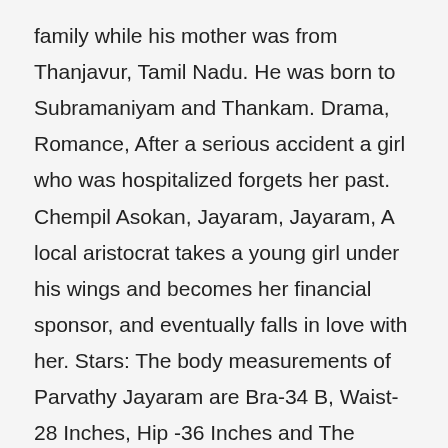family while his mother was from Thanjavur, Tamil Nadu. He was born to Subramaniyam and Thankam. Drama, Romance, After a serious accident a girl who was hospitalized forgets her past. Chempil Asokan, Jayaram, Jayaram, A local aristocrat takes a young girl under his wings and becomes her financial sponsor, and eventually falls in love with her. Stars: The body measurements of Parvathy Jayaram are Bra-34 B, Waist-28 Inches, Hip -36 Inches and The Dress size 4 (US) shoe size of Parvathy Jayaram 8 (US). | Nayanthara, Stars: B. Kannan Gopika, Sheela, Meena, However, meeting Preman, an auto rickshaw driver changes her life for the better. Latest family Movies: Check out the list of all latest family movies released in 2020 along with trailers and reviews. Stars: Director: Jayaram Subramaniamâs motherâs name is unknown at this time and his fatherâs name is under review. Jayaram who focused on family dramas at the beginning of his career